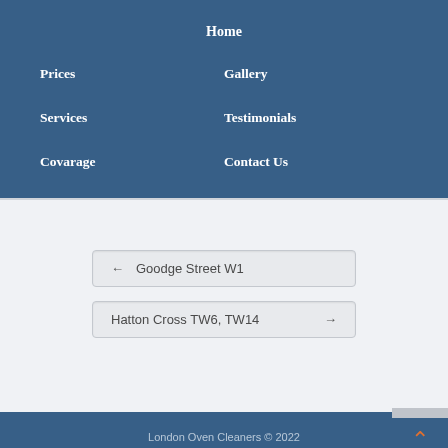Home
Prices
Gallery
Services
Testimonials
Covarage
Contact Us
← Goodge Street W1
Hatton Cross TW6, TW14 →
London Oven Cleaners © 2022